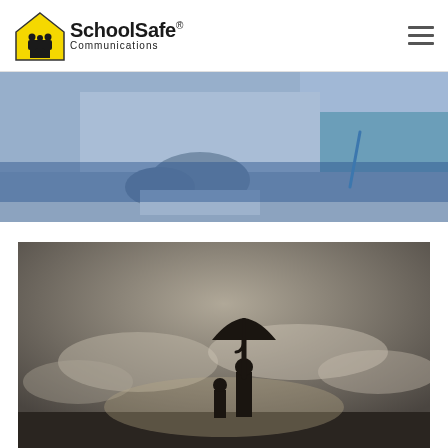SchoolSafe Communications
[Figure (photo): Blue-tinted photo of two people at a desk, one in a white shirt and one in teal/green, writing or signing documents. A blue horizontal band overlays the lower portion.]
[Figure (photo): Dramatic dusk/overcast sky photo showing a silhouette of a child and an adult holding an umbrella above the child.]